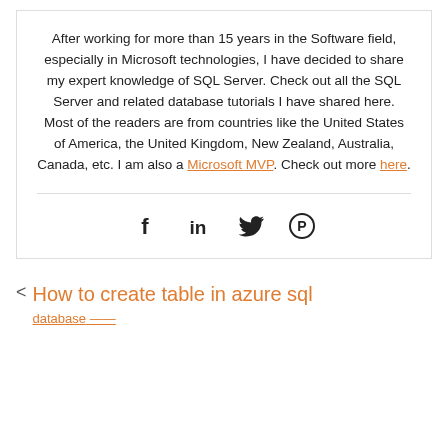After working for more than 15 years in the Software field, especially in Microsoft technologies, I have decided to share my expert knowledge of SQL Server. Check out all the SQL Server and related database tutorials I have shared here. Most of the readers are from countries like the United States of America, the United Kingdom, New Zealand, Australia, Canada, etc. I am also a Microsoft MVP. Check out more here.
[Figure (other): Social media share icons: Facebook (f), LinkedIn (in), Twitter (bird), Pinterest (P)]
< How to create table in azure sql